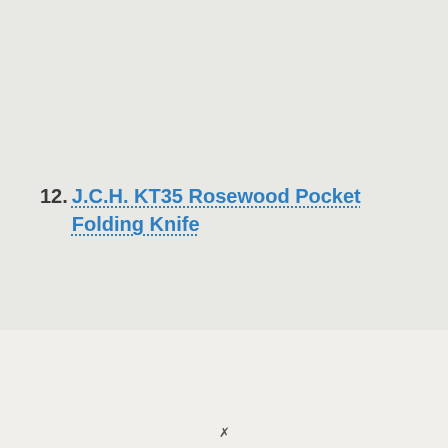12. J.C.H. KT35 Rosewood Pocket Folding Knife